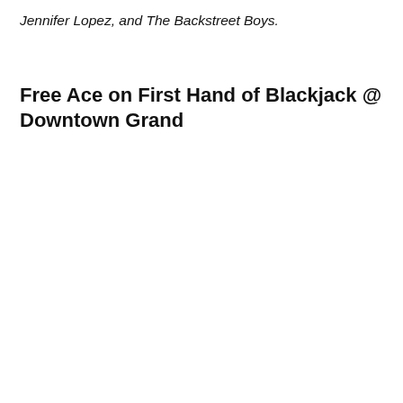Jennifer Lopez, and The Backstreet Boys.
Free Ace on First Hand of Blackjack @ Downtown Grand